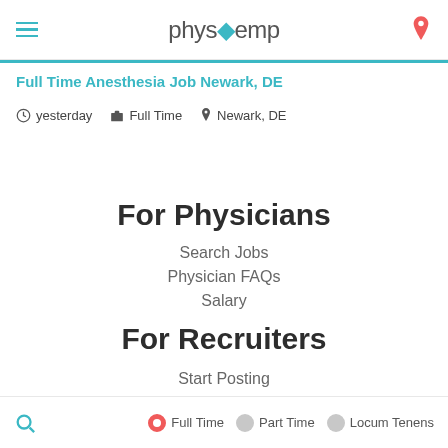physoemp
Full Time Anesthesia Job Newark, DE
yesterday  Full Time  Newark, DE
For Physicians
Search Jobs
Physician FAQs
Salary
For Recruiters
Start Posting
Employer FAQs
Full Time  Part Time  Locum Tenens